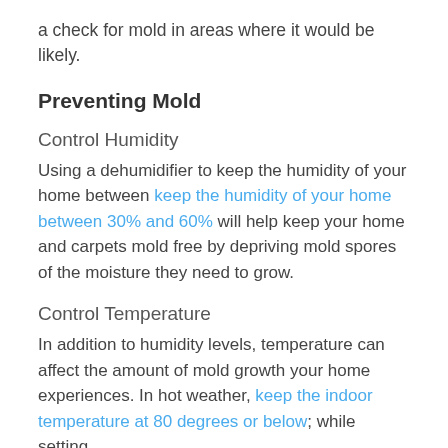a check for mold in areas where it would be likely.
Preventing Mold
Control Humidity
Using a dehumidifier to keep the humidity of your home between keep the humidity of your home between 30% and 60% will help keep your home and carpets mold free by depriving mold spores of the moisture they need to grow.
Control Temperature
In addition to humidity levels, temperature can affect the amount of mold growth your home experiences. In hot weather, keep the indoor temperature at 80 degrees or below; while setting